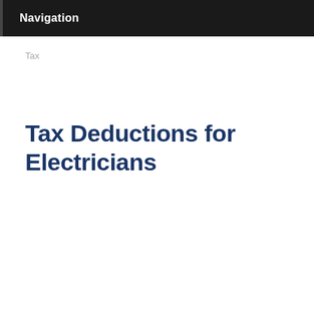Navigation
Tax
Tax Deductions for Electricians